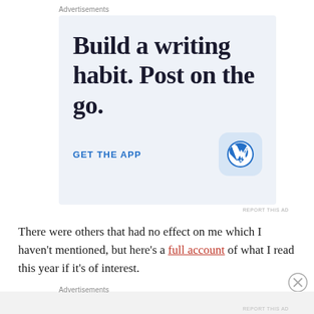Advertisements
[Figure (illustration): WordPress app advertisement with large serif text 'Build a writing habit. Post on the go.' and a 'GET THE APP' call-to-action link alongside the WordPress 'W' logo icon on a light blue-grey background.]
REPORT THIS AD
There were others that had no effect on me which I haven't mentioned, but here's a full account of what I read this year if it's of interest.
Advertisements
REPORT THIS AD